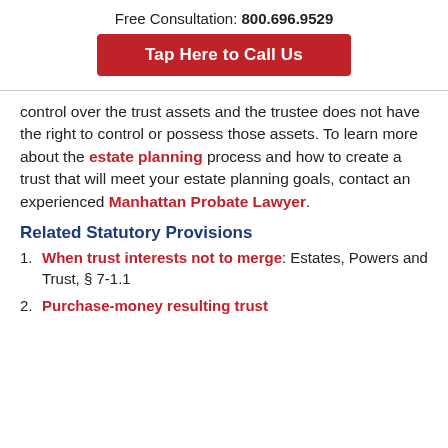Free Consultation: 800.696.9529
Tap Here to Call Us
control over the trust assets and the trustee does not have the right to control or possess those assets. To learn more about the estate planning process and how to create a trust that will meet your estate planning goals, contact an experienced Manhattan Probate Lawyer.
Related Statutory Provisions
When trust interests not to merge: Estates, Powers and Trust, § 7-1.1
Purchase-money resulting trust